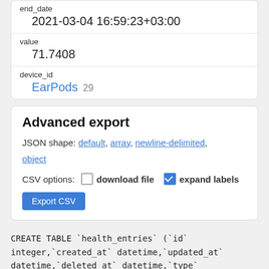| end_date | 2021-03-04 16:59:23+03:00 |
| value | 71.7408 |
| device_id | EarPods 29 |
Advanced export
JSON shape: default, array, newline-delimited, object
CSV options: □ download file ☑ expand labels
Export CSV
CREATE TABLE `health_entries` (`id` integer,`created_at` datetime,`updated_at` datetime,`deleted_at` datetime,`type`